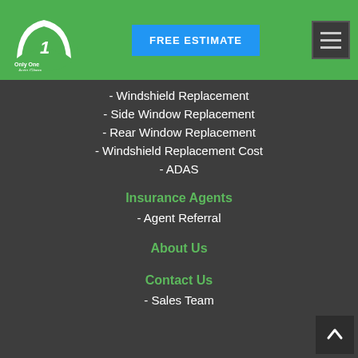[Figure (logo): Only One Auto Glass logo — white windshield wiper fan shape on green background with '1' and text 'Only One Auto Glass']
FREE ESTIMATE
[Figure (other): Hamburger menu icon — three horizontal lines in a dark rounded square]
- Windshield Replacement
- Side Window Replacement
- Rear Window Replacement
- Windshield Replacement Cost
- ADAS
Insurance Agents
- Agent Referral
About Us
Contact Us
- Sales Team